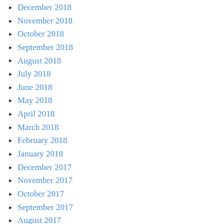December 2018
November 2018
October 2018
September 2018
August 2018
July 2018
June 2018
May 2018
April 2018
March 2018
February 2018
January 2018
December 2017
November 2017
October 2017
September 2017
August 2017
July 2017
June 2017
May 2017
April 2017
March 2017
February 2017
January 2017